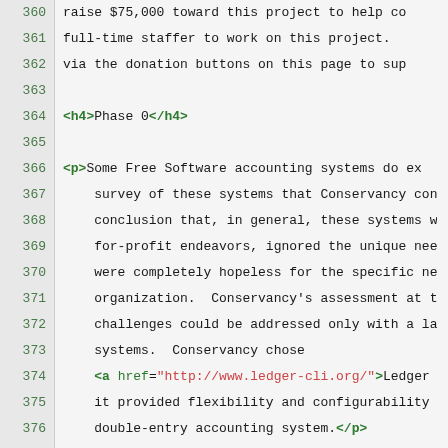360  raise $75,000 toward this project to help co
361  full-time staffer to work on this project.
362  via the donation buttons on this page to sup
363
364  <h4>Phase 0</h4>
365
366  <p>Some Free Software accounting systems do ex
367  survey of these systems that Conservancy con
368  conclusion that, in general, these systems w
369  for-profit endeavors, ignored the unique nee
370  were completely hopeless for the specific ne
371  organization.  Conservancy's assessment at t
372  challenges could be addressed only with a la
373  systems.  Conservancy chose
374  <a href="http://www.ledger-cli.org/">Ledger
375  it provided flexibility and configurability
376  double-entry accounting system.</p>
377
378  <p>However, while that previous informal surve
379  existing hypothesis that Ledger CLI is the r
380  Conservancy will first test that hypothesis.
381  project (estimated to last approximately 6-8
382  a written survey of all known Free Software
383  indicate what challenges exist to adapt such
384  NPOs.  The <a href="https://fsf.org/">Free S